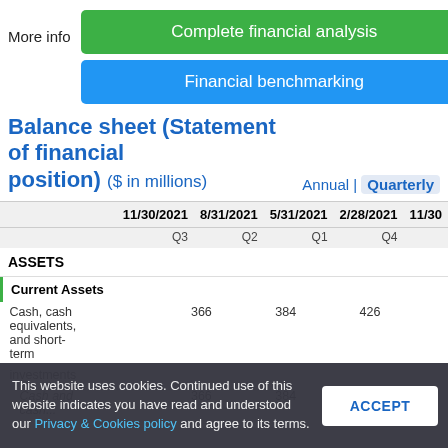More info
Complete financial analysis
Financial benchmarking
Balance sheet (Statement of financial position) ($ in millions)  Annual | Quarterly
|  | 11/30/2021 Q3 | 8/31/2021 Q2 | 5/31/2021 Q1 | 2/28/2021 Q4 | 11/30 |
| --- | --- | --- | --- | --- | --- |
| ASSETS |  |  |  |  |  |
| Current Assets |  |  |  |  |  |
| Cash, cash equivalents, and short-term investments | 366 | 384 | 426 |  |  |
| Cash and cash ... | 366 | 384 | 426 |  |  |
This website uses cookies. Continued use of this website indicates you have read and understood our Privacy & Cookies policy and agree to its terms.
ACCEPT